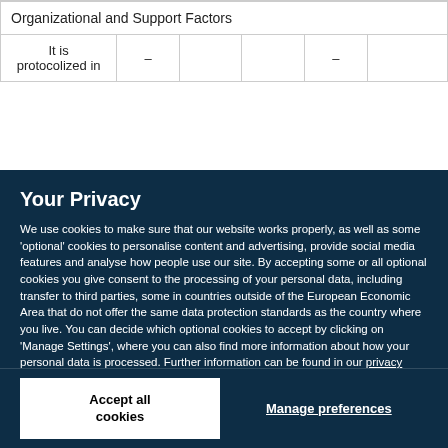| Organizational and Support Factors |  |  |  |  |  |
| It is protocolized in | – |  |  | – |  |
Your Privacy
We use cookies to make sure that our website works properly, as well as some 'optional' cookies to personalise content and advertising, provide social media features and analyse how people use our site. By accepting some or all optional cookies you give consent to the processing of your personal data, including transfer to third parties, some in countries outside of the European Economic Area that do not offer the same data protection standards as the country where you live. You can decide which optional cookies to accept by clicking on 'Manage Settings', where you can also find more information about how your personal data is processed. Further information can be found in our privacy policy.
Accept all cookies
Manage preferences